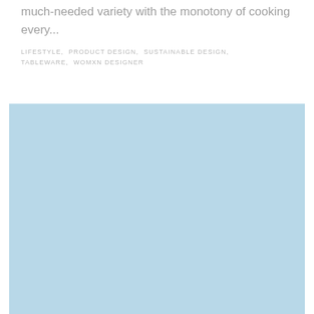much-needed variety with the monotony of cooking every...
LIFESTYLE, PRODUCT DESIGN, SUSTAINABLE DESIGN, TABLEWARE, WOMXN DESIGNER
[Figure (photo): A large light blue rectangle representing an image placeholder]